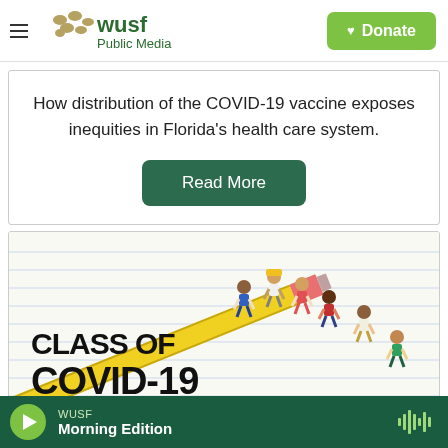WUSF Public Media — Donate
How distribution of the COVID-19 vaccine exposes inequities in Florida's health care system.
Read More
[Figure (illustration): Illustration titled 'CLASS OF COVID-19' showing children running along a large yellow pencil on lined notebook paper background.]
WUSF — Morning Edition (audio player bar)